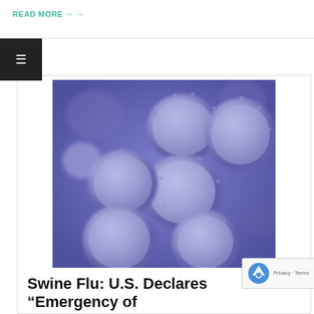READ MORE →
[Figure (photo): Electron microscope image of H1N1 swine flu virus particles, colorized purple/blue, showing multiple spherical viral particles with surface proteins visible]
Swine Flu: U.S. Declares “Emergency of